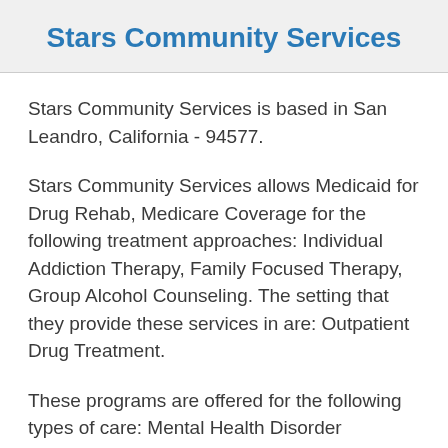Stars Community Services
Stars Community Services is based in San Leandro, California - 94577.
Stars Community Services allows Medicaid for Drug Rehab, Medicare Coverage for the following treatment approaches: Individual Addiction Therapy, Family Focused Therapy, Group Alcohol Counseling. The setting that they provide these services in are: Outpatient Drug Treatment.
These programs are offered for the following types of care: Mental Health Disorder Recovery. They also offer a number of